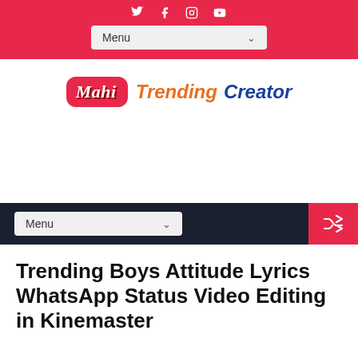Social icons: Twitter, Facebook, Instagram, YouTube
Menu (dropdown)
[Figure (logo): Mahi Trending Creator logo — red rounded box with 'Mahi' in white italic, followed by 'Trending' in orange italic and 'Creator' in blue italic]
Menu (dropdown) | shuffle button
Trending Boys Attitude Lyrics WhatsApp Status Video Editing in Kinemaster